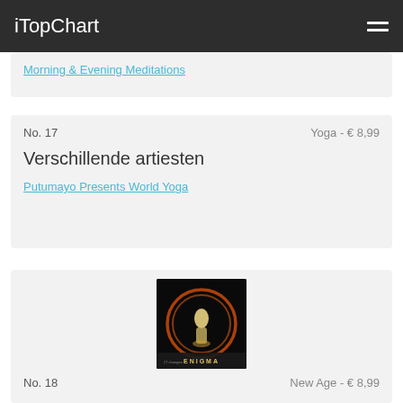iTopChart
Morning & Evening Meditations
No. 17 | Yoga - € 8,99
Verschillende artiesten
Putumayo Presents World Yoga
[Figure (photo): Album cover for Enigma - dark background with glowing orange circular light trails and a figure, with ENIGMA text at bottom]
No. 18 | New Age - € 8,99